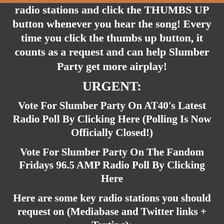radio stations and click the THUMBS UP button whenever you hear the song! Every time you click the thumbs up button, it counts as a request and can help Slumber Party get more airplay!
URGENT:
Vote For Slumber Party On AT40's Latest Radio Poll By Clicking Here (Polling Is Now Officially Closed!)
Vote For Slumber Party On The Fandom Fridays 96.5 AMP Radio Poll By Clicking Here
Here are some key radio stations you should request on (Mediabase and Twitter links + Texting):